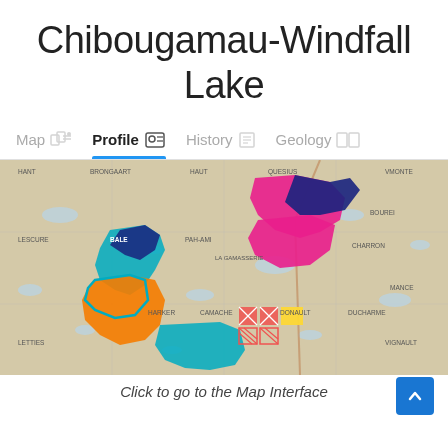Chibougamau-Windfall Lake
Map
Profile
History
Geology
[Figure (map): Geographic map showing Chibougamau-Windfall Lake area with colored claim regions: teal/cyan, orange, magenta/pink, dark navy, and red-hatched zones overlaid on a topographic base map. Place names visible include HANT, BRONGAART, HAUT, QUESIUS, VMONTE, LESCURE, BALE, PAH-AMI, LA GAMASSERIE, CHARRON, BOUREI, MANCE, HARKER, CAMACHE, DUCHARME, DONAULT, VIGNAULT, LETTIES.]
Click to go to the Map Interface